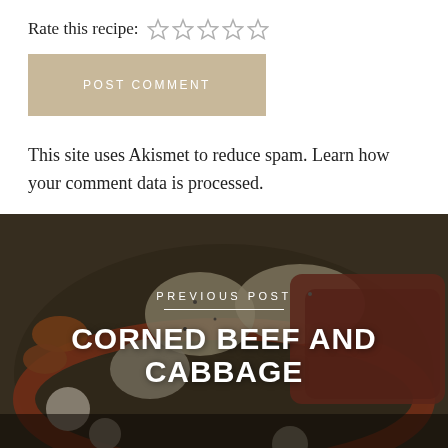Rate this recipe: ☆ ☆ ☆ ☆ ☆
POST COMMENT
This site uses Akismet to reduce spam. Learn how your comment data is processed.
PREVIOUS POST
[Figure (photo): A bowl of corned beef and cabbage with potatoes, carrots, and other vegetables viewed from above, with a dark overlay.]
CORNED BEEF AND CABBAGE